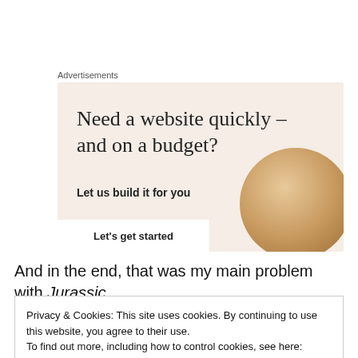Advertisements
[Figure (illustration): Advertisement banner with beige background showing text 'Need a website quickly – and on a budget? Let us build it for you' with a 'Let's get started' button and a decorative circular image of a croissant]
And in the end, that was my main problem with Jurassic
Privacy & Cookies: This site uses cookies. By continuing to use this website, you agree to their use.
To find out more, including how to control cookies, see here: Cookie Policy
Close and accept
World up to this point, but I should clearly state that I was